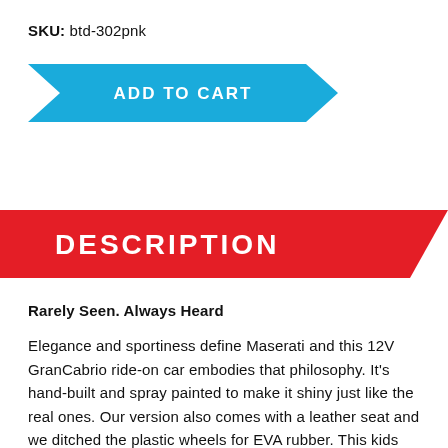SKU: btd-302pnk
[Figure (other): Blue parallelogram-shaped ADD TO CART button]
DESCRIPTION
Rarely Seen. Always Heard
Elegance and sportiness define Maserati and this 12V GranCabrio ride-on car embodies that philosophy. It's hand-built and spray painted to make it shiny just like the real ones. Our version also comes with a leather seat and we ditched the plastic wheels for EVA rubber. This kids GranCabrio can be